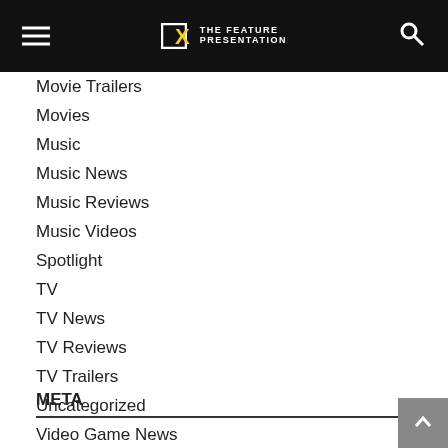THE FEATURE PRESENTATION
Movie Trailers
Movies
Music
Music News
Music Reviews
Music Videos
Spotlight
TV
TV News
TV Reviews
TV Trailers
Uncategorized
Video Game News
Video Game Trailers
Video Games
META